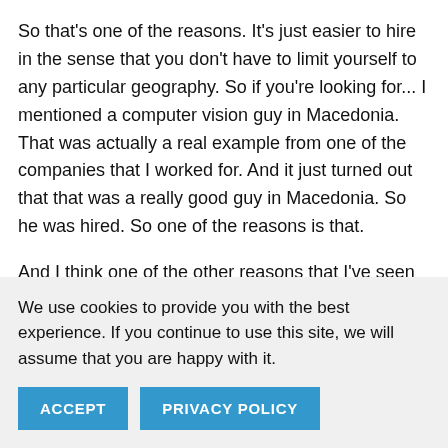So that's one of the reasons. It's just easier to hire in the sense that you don't have to limit yourself to any particular geography. So if you're looking for... I mentioned a computer vision guy in Macedonia. That was actually a real example from one of the companies that I worked for. And it just turned out that that was a really good guy in Macedonia. So he was hired. So one of the reasons is that.
And I think one of the other reasons that I've seen is also because of cultural diversity, particularly depending on the kind of product that you're...
We use cookies to provide you with the best experience. If you continue to use this site, we will assume that you are happy with it.